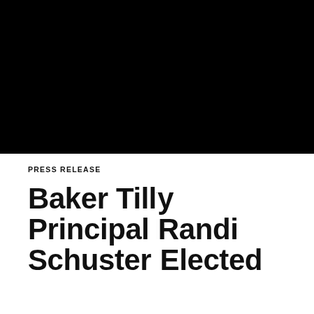[Figure (photo): Black banner image occupying the top portion of the page]
PRESS RELEASE
Baker Tilly Principal Randi Schuster Elected